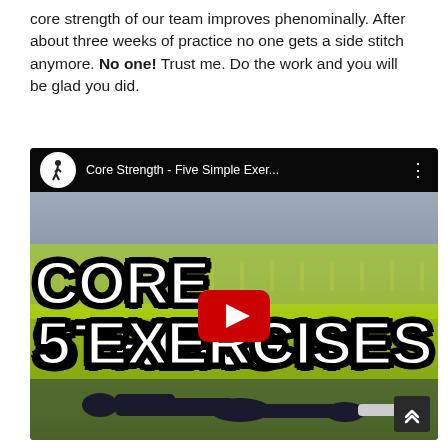core strength of our team improves phenominally. After about three weeks of practice no one gets a side stitch anymore. No one! Trust me. Do the work and you will be glad you did.
[Figure (screenshot): YouTube video thumbnail embed showing 'Core Strength - Five Simple Exer...' with a person lying on a grass field. Large bold white text with yellow-green glow reads 'CORE STRENGTH' on top and '5 EXERCISES' below, with a YouTube play button in the center.]